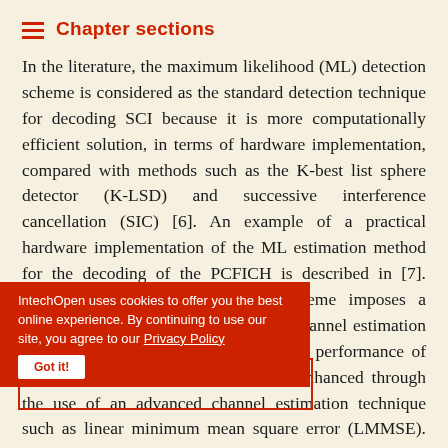Chapter sections
In the literature, the maximum likelihood (ML) detection scheme is considered as the standard detection technique for decoding SCI because it is more computationally efficient solution, in terms of hardware implementation, compared with methods such as the K-best list sphere detector (K-LSD) and successive interference cancellation (SIC) [6]. An example of a practical hardware implementation of the ML estimation method for the decoding of the PCFICH is described in [7]. Unfortunately, the ML detection scheme imposes a practical constraint in that it requires channel estimation at the receiver. In theory, the detection performance of the ML estimation technique can be enhanced through the use of an advanced channel estimation technique such as linear minimum mean square error (LMMSE). However, the need for channel
IntechOpen uses cookies to offer you the best online experience. By continuing to use our site, you agree to our Privacy Policy
Got it!